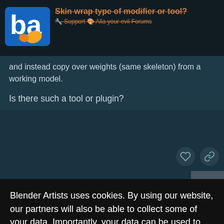Skin wrap type of modifier or tool?
and instead copy over weights (same skeleton) from a working model.
Is there such a tool or plugin?
Blender Artists uses cookies. By using our website, our partners will also be able to collect some of your data. Importantly, your data can be used to personalise ads. For a detailed overview, please see our privacy policy page.
I've never tried it, but from the wiki:
Weight PaintingVertex weights can now be transferred from one object to another, even if they have different topology. This can be useful for transferring meshes of different resolutions or shapes.